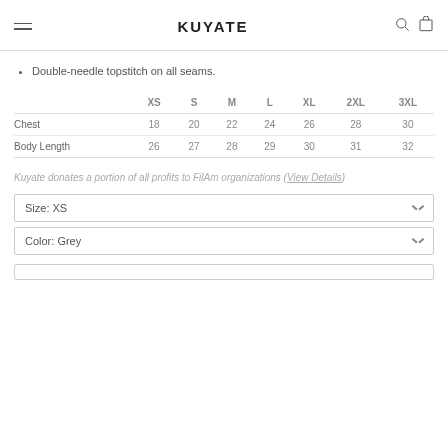KUYATE
Double-needle topstitch on all seams.
|  | XS | S | M | L | XL | 2XL | 3XL |
| --- | --- | --- | --- | --- | --- | --- | --- |
| Chest | 18 | 20 | 22 | 24 | 26 | 28 | 30 |
| Body Length | 26 | 27 | 28 | 29 | 30 | 31 | 32 |
Kuyate donates a portion of all profits to FilAm organizations (View Details)
Size: XS
Color: Grey